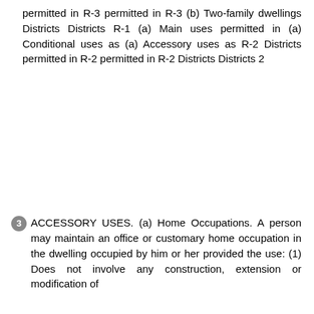permitted in R-3 permitted in R-3 (b) Two-family dwellings Districts Districts R-1 (a) Main uses permitted in (a) Conditional uses as (a) Accessory uses as R-2 Districts permitted in R-2 permitted in R-2 Districts Districts 2
3 ACCESSORY USES. (a) Home Occupations. A person may maintain an office or customary home occupation in the dwelling occupied by him or her provided the use: (1) Does not involve any construction, extension or modification of